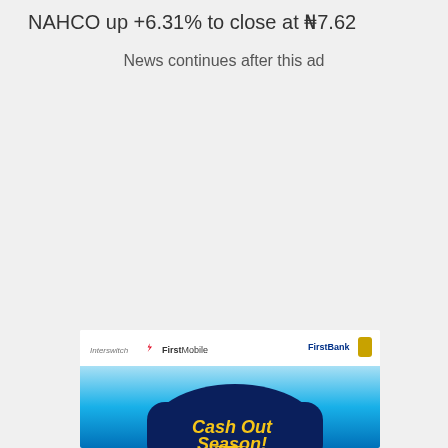NAHCO up +6.31% to close at ₦7.62
News continues after this ad
[Figure (illustration): FirstBank / Interswitch FirstMobile advertisement banner. Top bar shows Interswitch FirstMobile logo on the left and FirstBank logo on the right, on white background. Below is a blue gradient background with a dark navy speech bubble containing 'Cash Out Season!' text in bold yellow/gold italic lettering with a yellow arrow at the bottom.]